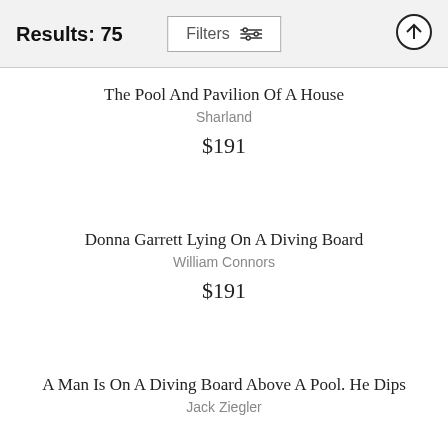Results: 75
The Pool And Pavilion Of A House
Sharland
$191
Donna Garrett Lying On A Diving Board
William Connors
$191
A Man Is On A Diving Board Above A Pool. He Dips
Jack Ziegler